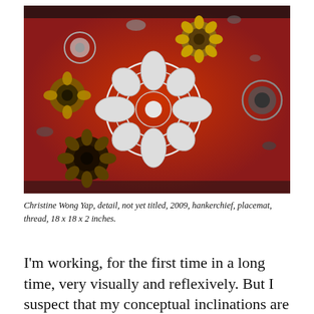[Figure (photo): Close-up photograph of red fabric (hankerchief/placemat) decorated with floral lace doilies and embroidered sunflower-like motifs in white, yellow, and dark colors, viewed at an angle.]
Christine Wong Yap, detail, not yet titled, 2009, hankerchief, placemat, thread, 18 x 18 x 2 inches.
I'm working, for the first time in a long time, very visually and reflexively. But I suspect that my conceptual inclinations are still at work. Perhaps, by way of embracing modest pleasures, I'm